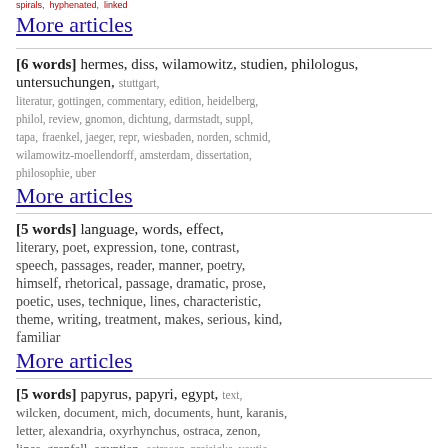spirals, hyphenated, linked
More articles
[6 words] hermes, diss, wilamowitz, studien, philologus, untersuchungen, stuttgart, literatur, gottingen, commentary, edition, heidelberg, philol, review, gnomon, dichtung, darmstadt, suppl, tapa, fraenkel, jaeger, repr, wiesbaden, norden, schmid, wilamowitz-moellendorff, amsterdam, dissertation, philosophie, uber
More articles
[5 words] language, words, effect, literary, poet, expression, tone, contrast, speech, passages, reader, manner, poetry, himself, rhetorical, passage, dramatic, prose, poetic, uses, technique, lines, characteristic, theme, writing, treatment, makes, serious, kind, familiar
More articles
[5 words] papyrus, papyri, egypt, text, wilcken, document, mich, documents, hunt, karanis, letter, alexandria, oxyrhynchus, ostraca, zenon, lines, grenfell, egyptian, ostracon, preisigke, youtie,